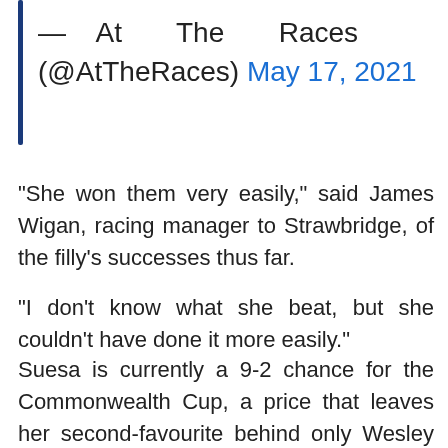— At The Races (@AtTheRaces) May 17, 2021
“She won them very easily,” said James Wigan, racing manager to Strawbridge, of the filly’s successes thus far.
“I don’t know what she beat, but she couldn’t have done it more easily.”
Suesa is currently a 9-2 chance for the Commonwealth Cup, a price that leaves her second-favourite behind only Wesley Ward’s Campanelle.